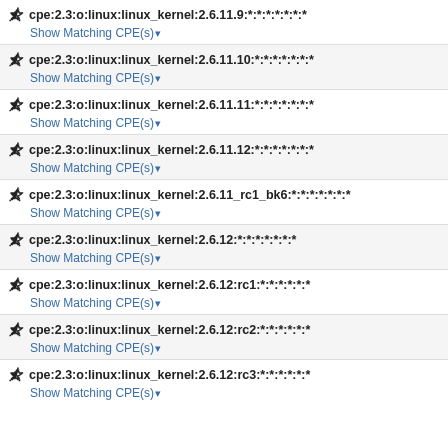cpe:2.3:o:linux:linux_kernel:2.6.11.9:*:*:*:*:*:*:*
Show Matching CPE(s)
cpe:2.3:o:linux:linux_kernel:2.6.11.10:*:*:*:*:*:*:*
Show Matching CPE(s)
cpe:2.3:o:linux:linux_kernel:2.6.11.11:*:*:*:*:*:*:*
Show Matching CPE(s)
cpe:2.3:o:linux:linux_kernel:2.6.11.12:*:*:*:*:*:*:*
Show Matching CPE(s)
cpe:2.3:o:linux:linux_kernel:2.6.11_rc1_bk6:*:*:*:*:*:*:*
Show Matching CPE(s)
cpe:2.3:o:linux:linux_kernel:2.6.12:*:*:*:*:*:*:*
Show Matching CPE(s)
cpe:2.3:o:linux:linux_kernel:2.6.12:rc1:*:*:*:*:*:*
Show Matching CPE(s)
cpe:2.3:o:linux:linux_kernel:2.6.12:rc2:*:*:*:*:*:*
Show Matching CPE(s)
cpe:2.3:o:linux:linux_kernel:2.6.12:rc3:*:*:*:*:*:*
Show Matching CPE(s)